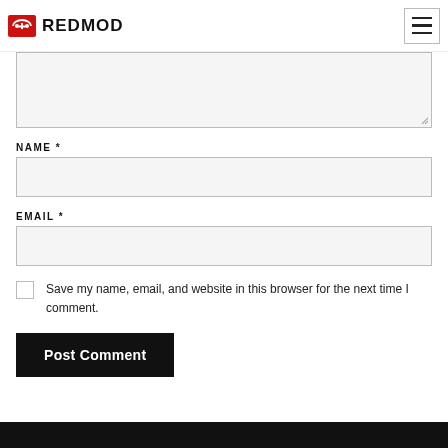REDMOD
[Comment textarea]
NAME *
[Name input field]
EMAIL *
[Email input field]
Save my name, email, and website in this browser for the next time I comment.
Post Comment